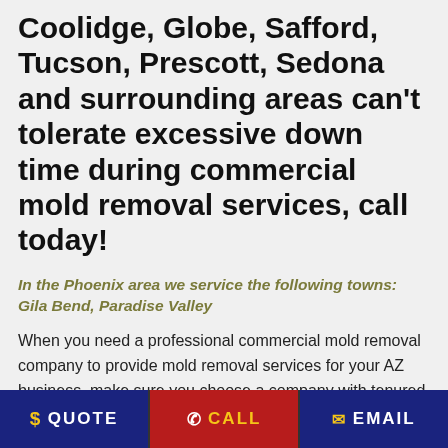Coolidge, Globe, Safford, Tucson, Prescott, Sedona and surrounding areas can't tolerate excessive down time during commercial mold removal services, call today!
In the Phoenix area we service the following towns: Gila Bend, Paradise Valley
When you need a professional commercial mold removal company to provide mold removal services for your AZ business, make sure you choose a company with tenured history, extensive train and retrain programs, quick response teams, and a reputation second to none, all qualities Danconia Restoration exudes. We take mold removal seriously for your commercial business because lots rides on the proper removal and remediation of
$ QUOTE   ✆ CALL   ✉ EMAIL